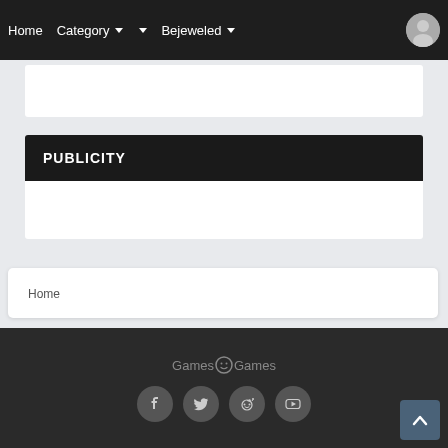Home  Category ▾  ▾  Bejeweled ▾
[Figure (screenshot): White content box area (empty)]
PUBLICITY
[Figure (screenshot): White publicity content area (empty)]
Home
Games☺Games — social icons: Facebook, Twitter, Reddit, YouTube